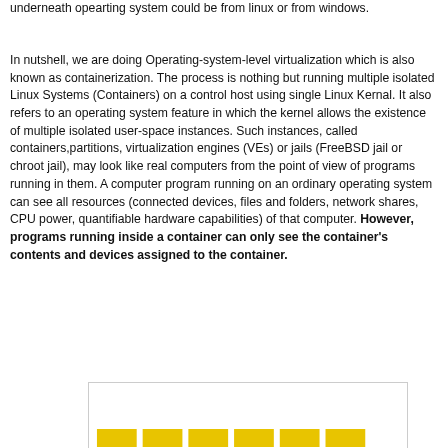underneath opearting system could be from linux or from windows.
In nutshell, we are doing Operating-system-level virtualization which is also known as containerization. The process is nothing but running multiple isolated Linux Systems (Containers) on a control host using single Linux Kernal. It also refers to an operating system feature in which the kernel allows the existence of multiple isolated user-space instances. Such instances, called containers,partitions, virtualization engines (VEs) or jails (FreeBSD jail or chroot jail), may look like real computers from the point of view of programs running in them. A computer program running on an ordinary operating system can see all resources (connected devices, files and folders, network shares, CPU power, quantifiable hardware capabilities) of that computer. However, programs running inside a container can only see the container's contents and devices assigned to the container.
[Figure (other): Partial view of a diagram showing yellow bar elements at the bottom of a bordered box, likely part of a container/virtualization architecture diagram.]